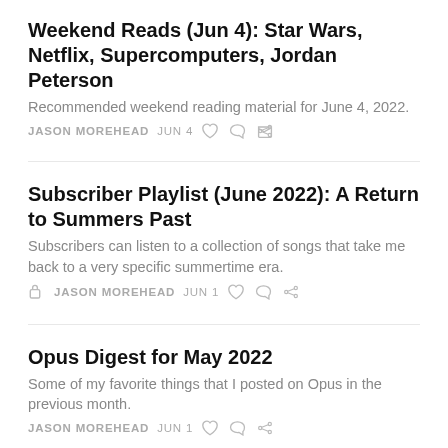Weekend Reads (Jun 4): Star Wars, Netflix, Supercomputers, Jordan Peterson
Recommended weekend reading material for June 4, 2022.
JASON MOREHEAD   JUN 4
Subscriber Playlist (June 2022): A Return to Summers Past
Subscribers can listen to a collection of songs that take me back to a very specific summertime era.
JASON MOREHEAD   JUN 1
Opus Digest for May 2022
Some of my favorite things that I posted on Opus in the previous month.
JASON MOREHEAD   JUN 1
Weekend Reads (5/28): School Shootings, SBC Abuse, Star Wars, Black Holes, Depeche Mode